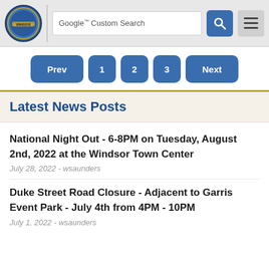Google™ Custom Search
Prev 1 2 3 Next
Latest News Posts
National Night Out - 6-8PM on Tuesday, August 2nd, 2022 at the Windsor Town Center
July 28, 2022 - wsaunders
Duke Street Road Closure - Adjacent to Garris Event Park - July 4th from 4PM - 10PM
July 1, 2022 - wsaunders